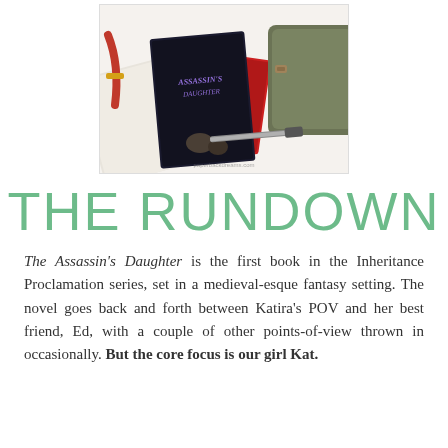[Figure (photo): Flatlay photo showing a book titled 'Assassin's Daughter' with a dark cover, a red book, a folding knife, a brown bag, and other objects on a white surface.]
THE RUNDOWN
The Assassin's Daughter is the first book in the Inheritance Proclamation series, set in a medieval-esque fantasy setting. The novel goes back and forth between Katira's POV and her best friend, Ed, with a couple of other points-of-view thrown in occasionally. But the core focus is our girl Kat.